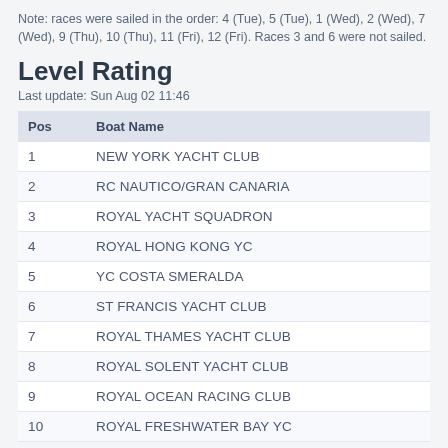Note: races were sailed in the order: 4 (Tue), 5 (Tue), 1 (Wed), 2 (Wed), 7 (Wed), 9 (Thu), 10 (Thu), 11 (Fri), 12 (Fri). Races 3 and 6 were not sailed.
Level Rating
Last update: Sun Aug 02 11:46
| Pos | Boat Name |
| --- | --- |
| 1 | NEW YORK YACHT CLUB |
| 2 | RC NAUTICO/GRAN CANARIA |
| 3 | ROYAL YACHT SQUADRON |
| 4 | ROYAL HONG KONG YC |
| 5 | YC COSTA SMERALDA |
| 6 | ST FRANCIS YACHT CLUB |
| 7 | ROYAL THAMES YACHT CLUB |
| 8 | ROYAL SOLENT YACHT CLUB |
| 9 | ROYAL OCEAN RACING CLUB |
| 10 | ROYAL FRESHWATER BAY YC |